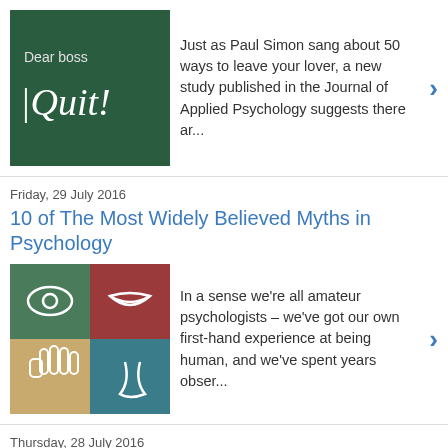[Figure (illustration): Dark green chalkboard with 'Dear boss I Quit!' written on it]
Just as Paul Simon sang about 50 ways to leave your lover, a new study published in the Journal of Applied Psychology suggests there ar...
Friday, 29 July 2016
10 of The Most Widely Believed Myths in Psychology
[Figure (illustration): Four quadrant illustration with icons representing the five senses: eye, lips, hand, ear, and nose on colored backgrounds]
In a sense we're all amateur psychologists – we've got our own first-hand experience at being human, and we've spent years obser...
Thursday, 28 July 2016
Neuro Harlow: The effect of a mother's touch on her child's developing brain
[Figure (illustration): Orange background silhouette of a mother and child holding hands]
In the 1950s, the American psychologist Harry Harlow famously showed that infant rhesus monkeys would rather cling to a surrogate wire...